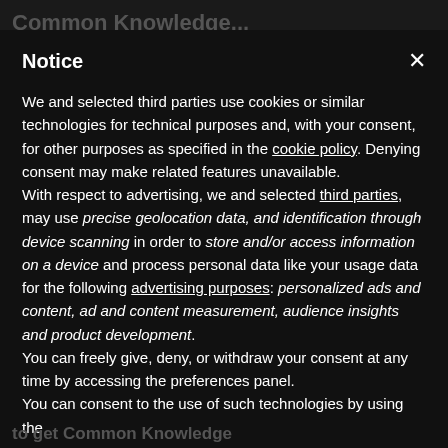Common Knowledge...
Notice
We and selected third parties use cookies or similar technologies for technical purposes and, with your consent, for other purposes as specified in the cookie policy. Denying consent may make related features unavailable.
With respect to advertising, we and selected third parties, may use precise geolocation data, and identification through device scanning in order to store and/or access information on a device and process personal data like your usage data for the following advertising purposes: personalized ads and content, ad and content measurement, audience insights and product development.
You can freely give, deny, or withdraw your consent at any time by accessing the preferences panel.
You can consent to the use of such technologies by using the
Accept
Learn more and customize